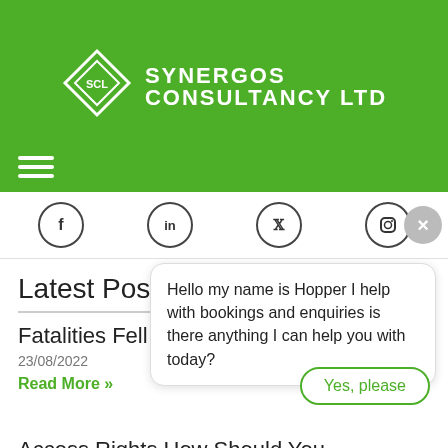[Figure (logo): Synergos Consultancy Ltd logo on green header background with diamond SCL emblem]
[Figure (infographic): Hamburger menu icon (three white horizontal bars) on green background]
[Figure (infographic): Social media icons row: Facebook, LinkedIn, Twitter, Instagram circles with close X button]
Latest Posts
Fatalities Fell By
23/08/2022
Read More »
Hello my name is Hopper I help with bookings and enquiries is there anything I can help you with today?
Yes, please
Access Rights How Should You Manage?
18/08/2022
[Figure (infographic): Green chat widget button with message icon and red badge showing 1]